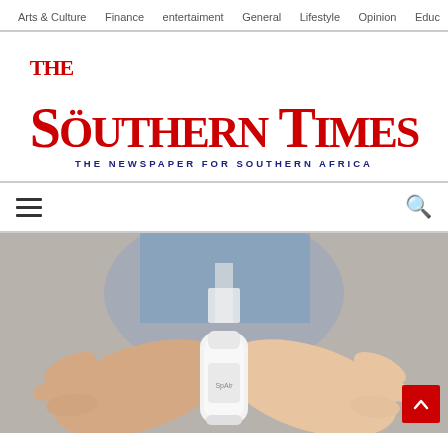Arts & Culture  Finance  entertaiment  General  Lifestyle  Opinion  Educ
The Southern Times — THE NEWSPAPER FOR SOUTHERN AFRICA
[Figure (screenshot): Website menu bar with hamburger icon on left and red search icon on right]
[Figure (photo): Close-up photo of two hands holding a white medical inhaler device, person wearing blue shirt with a lanyard in background]